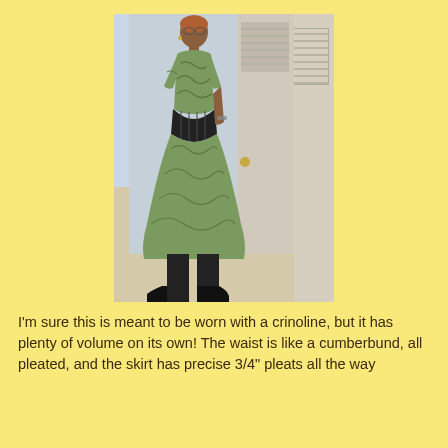[Figure (photo): A woman wearing a green patterned midi dress with a black cumberbund-style waist, short sleeves, black tights and black boots, posing in front of a door and wall.]
I'm sure this is meant to be worn with a crinoline, but it has plenty of volume on its own! The waist is like a cumberbund, all pleated, and the skirt has precise 3/4" pleats all the way